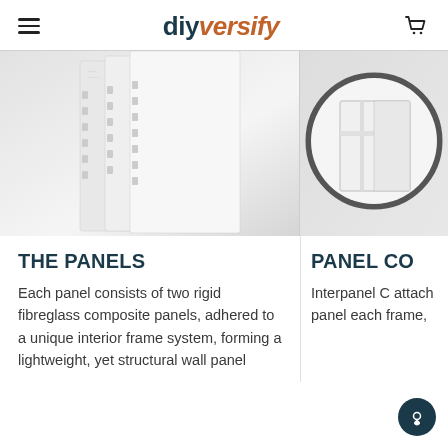diyversify
[Figure (photo): White fibreglass composite wall panels standing upright, showing the panel edge profile and structure]
[Figure (photo): Close-up detail of panel connection/corner shown through a circular magnifying lens]
THE PANELS
Each panel consists of two rigid fibreglass composite panels, adhered to a unique interior frame system, forming a lightweight, yet structural wall panel
PANEL CO
Interpanel C attach panel each frame,